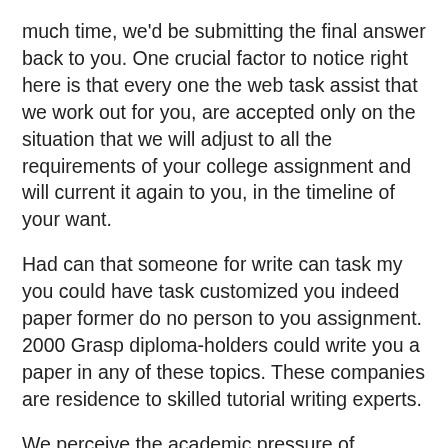much time, we'd be submitting the final answer back to you. One crucial factor to notice right here is that every one the web task assist that we work out for you, are accepted only on the situation that we will adjust to all the requirements of your college assignment and will current it again to you, in the timeline of your want.
Had can that someone for write can task my you could have task customized you indeed paper former do no person to you assignment. 2000 Grasp diploma-holders could write you a paper in any of these topics. These companies are residence to skilled tutorial writing experts.
We perceive the academic pressure of scholars. For that purpose, we are right here that can assist you. Should you ever face comparable sorts of conditions and might't trouble the project pressure, immediately Online Assignment Help come to us. We are going to handle your project. Pupils in Singapore are briefly supply of time and occupied with